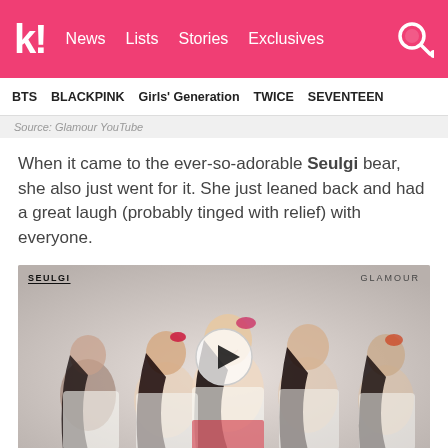k! News  Lists  Stories  Exclusives
BTS  BLACKPINK  Girls' Generation  TWICE  SEVENTEEN
Source: Glamour YouTube
When it came to the ever-so-adorable Seulgi bear, she also just went for it. She just leaned back and had a great laugh (probably tinged with relief) with everyone.
[Figure (screenshot): Video thumbnail showing Red Velvet member Seulgi with group members laughing, labeled SEULGI and GLAMOUR, with a play button overlay]